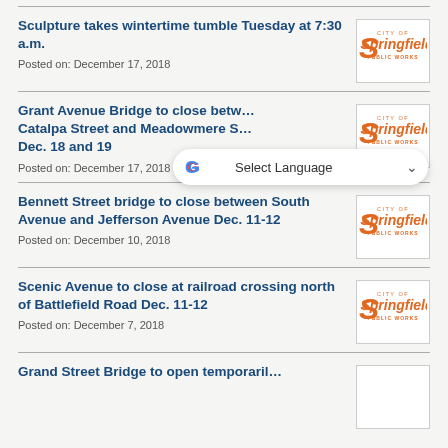Sculpture takes wintertime tumble Tuesday at 7:30 a.m.
Posted on: December 17, 2018
[Figure (logo): City of Springfield Public Works logo]
Grant Avenue Bridge to close between Catalpa Street and Meadowmere S... Dec. 18 and 19
Posted on: December 17, 2018
[Figure (logo): City of Springfield Public Works logo]
Bennett Street bridge to close between South Avenue and Jefferson Avenue Dec. 11-12
Posted on: December 10, 2018
[Figure (logo): City of Springfield Public Works logo]
Scenic Avenue to close at railroad crossing north of Battlefield Road Dec. 11-12
Posted on: December 7, 2018
[Figure (logo): City of Springfield Public Works logo]
Grand Street Bridge to open temporarily...